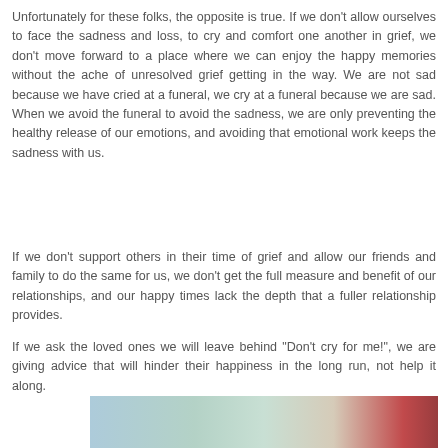Unfortunately for these folks, the opposite is true. If we don't allow ourselves to face the sadness and loss, to cry and comfort one another in grief, we don't move forward to a place where we can enjoy the happy memories without the ache of unresolved grief getting in the way. We are not sad because we have cried at a funeral, we cry at a funeral because we are sad. When we avoid the funeral to avoid the sadness, we are only preventing the healthy release of our emotions, and avoiding that emotional work keeps the sadness with us.
If we don't support others in their time of grief and allow our friends and family to do the same for us, we don't get the full measure and benefit of our relationships, and our happy times lack the depth that a fuller relationship provides.
If we ask the loved ones we will leave behind "Don't cry for me!", we are giving advice that will hinder their happiness in the long run, not help it along.
[Figure (photo): A partial photograph visible at the bottom of the page, showing an outdoor scene with trees and what appears to be a red element on the right side.]